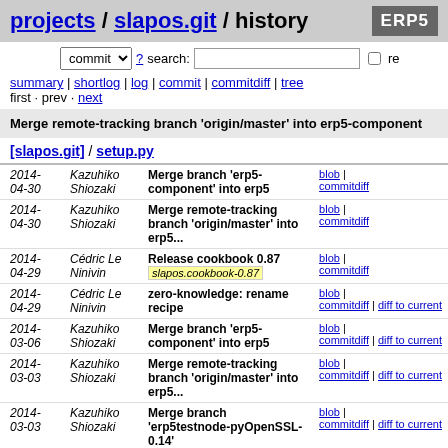projects / slapos.git / history
commit search: re
summary | shortlog | log | commit | commitdiff | tree
first · prev · next
Merge remote-tracking branch 'origin/master' into erp5-component
[slapos.git] / setup.py
| Date | Author | Message | Links |
| --- | --- | --- | --- |
| 2014-04-30 | Kazuhiko Shiozaki | Merge branch 'erp5-component' into erp5 | blob | commitdiff |
| 2014-04-30 | Kazuhiko Shiozaki | Merge remote-tracking branch 'origin/master' into erp5... | blob | commitdiff |
| 2014-04-29 | Cédric Le Ninivin | Release cookbook 0.87  [slapos.cookbook-0.87] | blob | commitdiff |
| 2014-04-29 | Cédric Le Ninivin | zero-knowledge: rename recipe | blob | commitdiff | diff to current |
| 2014-03-06 | Kazuhiko Shiozaki | Merge branch 'erp5-component' into erp5 | blob | commitdiff | diff to current |
| 2014-03-03 | Kazuhiko Shiozaki | Merge remote-tracking branch 'origin/master' into erp5... | blob | commitdiff | diff to current |
| 2014-03-03 | Kazuhiko Shiozaki | Merge branch 'erp5testnode-pyOpenSSL-0.14' | blob | commitdiff | diff to current |
| 2014-... | Nicolas... | 2 new recipes added for the 0... | blob | |